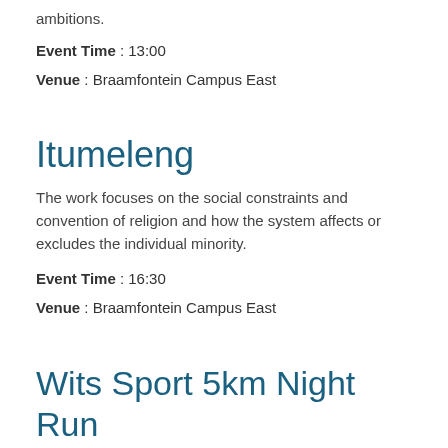ambitions.
Event Time : 13:00
Venue : Braamfontein Campus East
Itumeleng
The work focuses on the social constraints and convention of religion and how the system affects or excludes the individual minority.
Event Time : 16:30
Venue : Braamfontein Campus East
Wits Sport 5km Night Run
Come meet your fellow Witsies at the 2019 Night Run